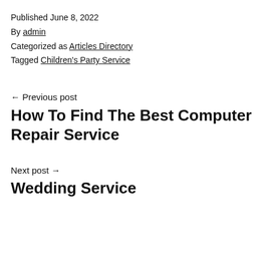Published June 8, 2022
By admin
Categorized as Articles Directory
Tagged Children's Party Service
← Previous post
How To Find The Best Computer Repair Service
Next post →
Wedding Service